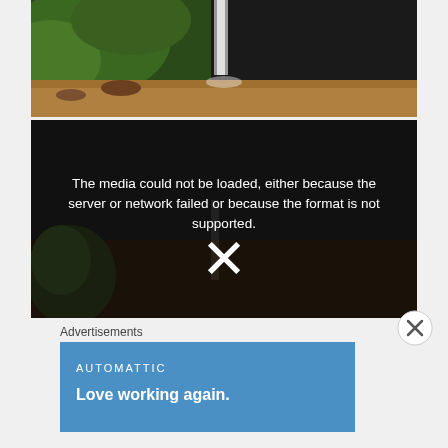[Figure (photo): Waterfall flowing into a brown/muddy pool of water, surrounded by green trees and dark rocky cliff face. Natural outdoor scene, top image.]
[Figure (screenshot): Video player error screen: dark background with overlaid white text reading 'The media could not be loaded, either because the server or network failed or because the format is not supported.' with a large white X below. The background shows a dimmed waterfall/nature scene.]
Advertisements
[Figure (screenshot): Blue advertisement banner for Automattic with white text 'AUTOMATTIC' and bold text 'Love working again.']